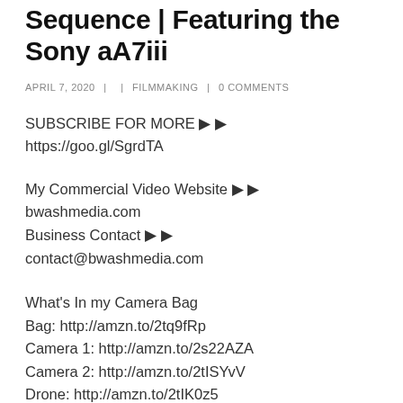5 Tips to Film a Cinematic Sequence | Featuring the Sony aA7iii
APRIL 7, 2020  |    |  FILMMAKING  |  0 COMMENTS
SUBSCRIBE FOR MORE ▶ ▶
https://goo.gl/SgrdTA
My Commercial Video Website ▶ ▶
bwashmedia.com
Business Contact ▶ ▶
contact@bwashmedia.com
What's In my Camera Bag
Bag: http://amzn.to/2tq9fRp
Camera 1: http://amzn.to/2s22AZA
Camera 2: http://amzn.to/2tISYvV
Drone: http://amzn.to/2tIK0z5